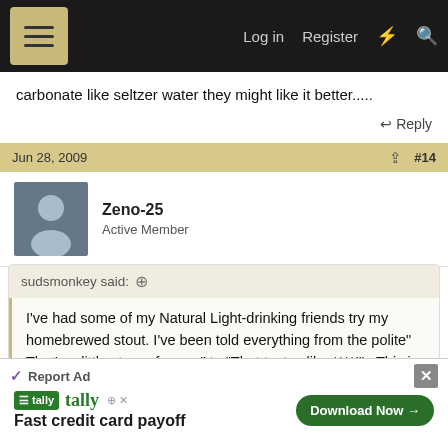Log in  Register
carbonate like seltzer water they might like it better.....
Reply
Jun 28, 2009  #14
Zeno-25
Active Member
sudsmonkey said:
I've had some of my Natural Light-drinking friends try my homebrewed stout. I've been told everything from the polite" That's a little strong for me " to "That tastes like ****!" . This is from guys who've never had a Guinness or maybe anything darker than the occasional Dos Equis at
Report Ad
Fast credit card payoff
Download Now